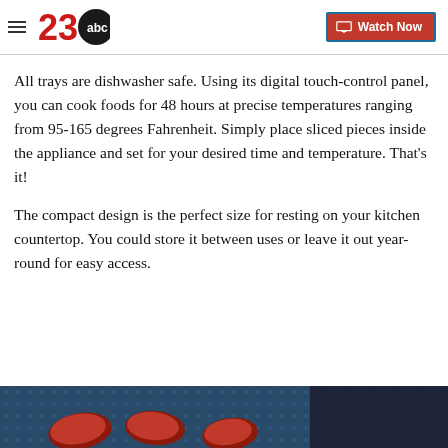23abc — Watch Now
All trays are dishwasher safe. Using its digital touch-control panel, you can cook foods for 48 hours at precise temperatures ranging from 95-165 degrees Fahrenheit. Simply place sliced pieces inside the appliance and set for your desired time and temperature. That's it!
The compact design is the perfect size for resting on your kitchen countertop. You could store it between uses or leave it out year-round for easy access.
[Figure (photo): Photo of red pepper slices on a dehydrator tray with a blue/dark background]